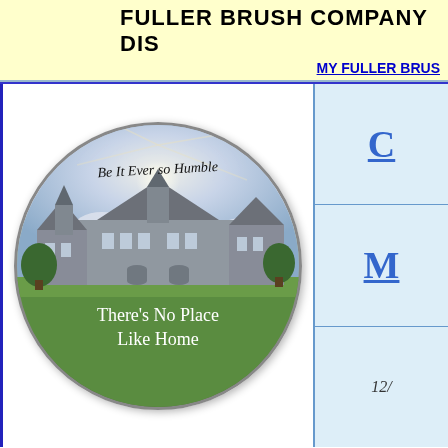FULLER BRUSH COMPANY DIS
MY FULLER BRUS
[Figure (illustration): Circular badge/medallion image with a mansion house photo in center. Arched text at top reads 'Be It Ever so Humble' and text at bottom reads 'There's No Place Like Home'.]
C
M
12/